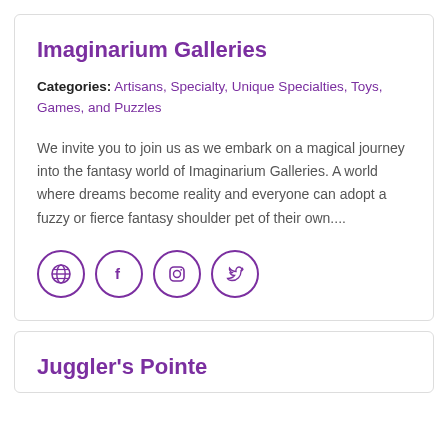Imaginarium Galleries
Categories: Artisans, Specialty, Unique Specialties, Toys, Games, and Puzzles
We invite you to join us as we embark on a magical journey into the fantasy world of Imaginarium Galleries. A world where dreams become reality and everyone can adopt a fuzzy or fierce fantasy shoulder pet of their own....
[Figure (infographic): Four circular social media icons: globe/website, Facebook, Instagram, Twitter — all in purple outline style]
Juggler's Pointe